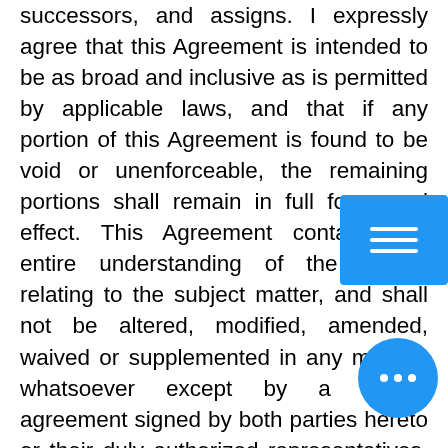successors, and assigns. I expressly agree that this Agreement is intended to be as broad and inclusive as is permitted by applicable laws, and that if any portion of this Agreement is found to be void or unenforceable, the remaining portions shall remain in full force and effect. This Agreement contains the entire understanding of the parties relating to the subject matter, and shall not be altered, modified, amended, waived or supplemented in any manner whatsoever except by a written agreement signed by both parties hereto or their duly authorized representatives. This Agreement may be executed, made and delivered electronically. To the maximum extent permitted by applicable